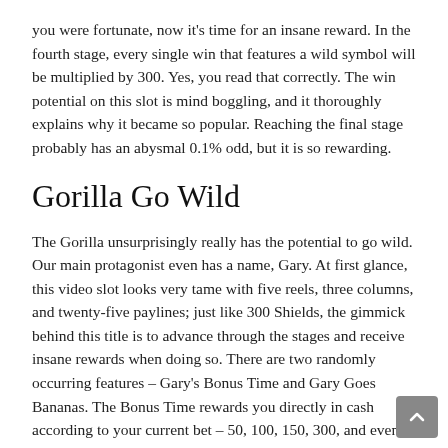you were fortunate, now it's time for an insane reward. In the fourth stage, every single win that features a wild symbol will be multiplied by 300. Yes, you read that correctly. The win potential on this slot is mind boggling, and it thoroughly explains why it became so popular. Reaching the final stage probably has an abysmal 0.1% odd, but it is so rewarding.
Gorilla Go Wild
The Gorilla unsurprisingly really has the potential to go wild. Our main protagonist even has a name, Gary. At first glance, this video slot looks very tame with five reels, three columns, and twenty-five paylines; just like 300 Shields, the gimmick behind this title is to advance through the stages and receive insane rewards when doing so. There are two randomly occurring features – Gary's Bonus Time and Gary Goes Bananas. The Bonus Time rewards you directly in cash according to your current bet – 50, 100, 150, 300, and even 1000 times the initial bet. The other bonus feature has Gary eat random bananas he finds, and when he manages to collect them, he will transport you to a different reel setup. The three possible advancement levels also increase